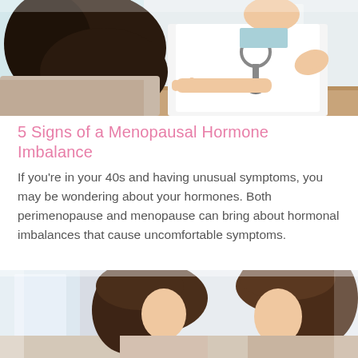[Figure (photo): A doctor in a white coat with a stethoscope gesturing with one hand, sitting across a desk from a patient with dark hair viewed from behind]
5 Signs of a Menopausal Hormone Imbalance
If you’re in your 40s and having unusual symptoms, you may be wondering about your hormones. Both perimenopause and menopause can bring about hormonal imbalances that cause uncomfortable symptoms.
[Figure (photo): Two women with brown hair looking down together at something, photographed from above at an angle, in a light indoor setting]